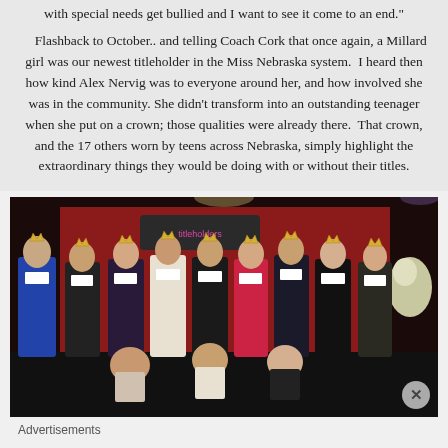with special needs get bullied and I want to see it come to an end."

Flashback to October.. and telling Coach Cork that once again, a Millard girl was our newest titleholder in the Miss Nebraska system. I heard then how kind Alex Nervig was to everyone around her, and how involved she was in the community. She didn't transform into an outstanding teenager when she put on a crown; those qualities were already there. That crown, and the 17 others worn by teens across Nebraska, simply highlight the extraordinary things they would be doing with or without their titles.
[Figure (photo): Group photo of teenage beauty pageant titleholders wearing crowns and sashes, posing together in front of a red backdrop. Some are standing, some seated in front. They are dressed in formal attire.]
Advertisements